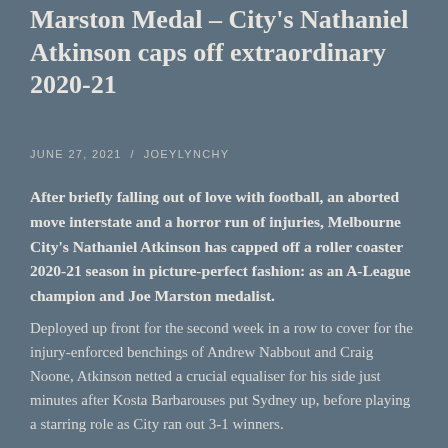Marston Medal – City's Nathaniel Atkinson caps off extraordinary 2020-21
JUNE 27, 2021  /  JOEYLYNCHY
After briefly falling out of love with football, an aborted move interstate and a horror run of injuries, Melbourne City's Nathaniel Atkinson has capped off a roller coaster 2020-21 season in picture-perfect fashion: as an A-League champion and Joe Marston medalist.
Deployed up front for the second week in a row to cover for the injury-enforced benchings of Andrew Nabbout and Craig Noone, Atkinson netted a crucial equaliser for his side just minutes after Kosta Barbarouses put Sydney up, before playing a starring role as City ran out 3-1 winners.